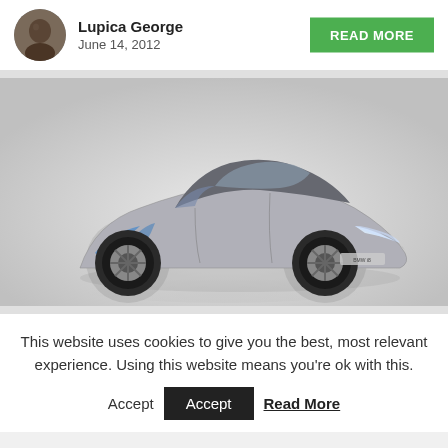Lupica George
June 14, 2012
READ MORE
[Figure (photo): BMW i8 concept sports car in silver and black, photographed against a light grey studio background, three-quarter front view]
This website uses cookies to give you the best, most relevant experience. Using this website means you're ok with this.
Accept
Read More